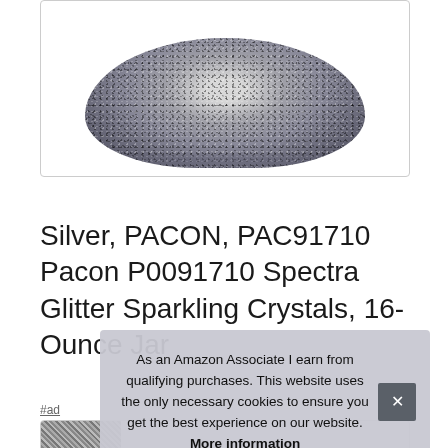[Figure (photo): Glitter sparkling crystals jar product image showing a round silver/grey textured container]
Silver, PACON, PAC91710 Pacon P0091710 Spectra Glitter Sparkling Crystals, 16-Ounce Jar
#ad
As an Amazon Associate I earn from qualifying purchases. This website uses the only necessary cookies to ensure you get the best experience on our website. More information
[Figure (photo): Partial product thumbnails row at bottom of page]